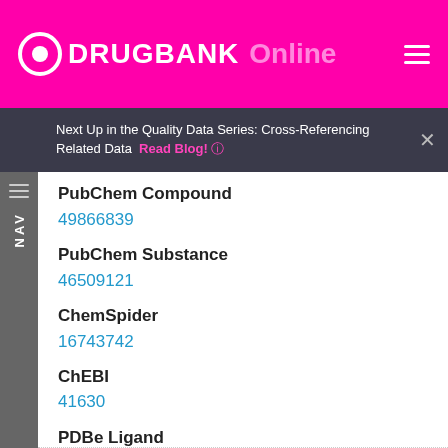DRUGBANK Online
Next Up in the Quality Data Series: Cross-Referencing Related Data  Read Blog!
PubChem Compound
49866839
PubChem Substance
46509121
ChemSpider
16743742
ChEBI
41630
PDBe Ligand
CSX